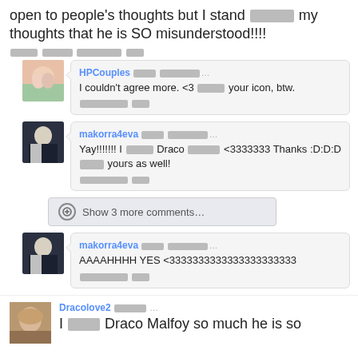open to people's thoughts but I stand ▓▓▓▓▓▓ my thoughts that he is SO misunderstood!!!!
▓▓▓▓▓ ▓▓▓▓▓ ▓▓▓▓▓▓▓▓ ▓▓▓
HPCouples ▓▓▓▓▓ ▓▓▓▓▓▓▓▓...
I couldn't agree more. <3 ▓▓▓▓▓ your icon, btw.
▓▓▓▓▓▓▓▓ ▓▓▓
makorra4eva ▓▓▓▓▓ ▓▓▓▓▓▓▓▓...
Yay!!!!!!! I ▓▓▓▓▓ Draco ▓▓▓▓▓▓ <3333333 Thanks :D:D:D ▓▓▓▓▓ yours as well!
▓▓▓▓▓▓▓▓ ▓▓▓
Show 3 more comments...
makorra4eva ▓▓▓▓▓ ▓▓▓▓▓▓▓▓...
AAAAHHHH YES <3333333333333333333333
▓▓▓▓▓▓▓▓ ▓▓▓
Dracolove2 ▓▓▓▓▓▓ ...
I ▓▓▓▓▓ Draco Malfoy so much he is so